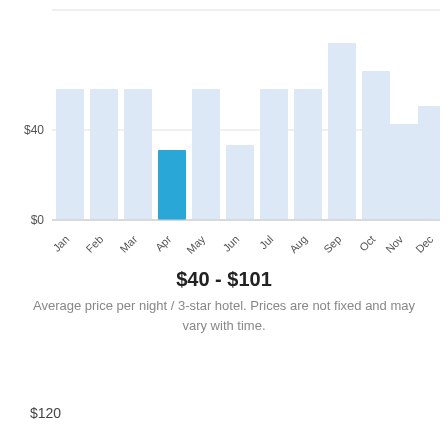[Figure (bar-chart): Average hotel price per night]
$40 - $101
Average price per night / 3-star hotel. Prices are not fixed and may vary with time.
$120